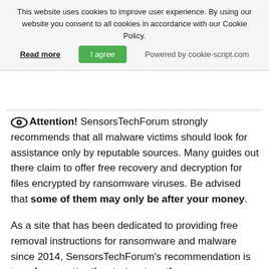This website uses cookies to improve user experience. By using our website you consent to all cookies in accordance with our Cookie Policy.
Read more | I agree | Powered by cookie-script.com
👁 Attention! SensorsTechForum strongly recommends that all malware victims should look for assistance only by reputable sources. Many guides out there claim to offer free recovery and decryption for files encrypted by ransomware viruses. Be advised that some of them may only be after your money.
As a site that has been dedicated to providing free removal instructions for ransomware and malware since 2014, SensorsTechForum's recommendation is to only pay attention to trustworthy sources.